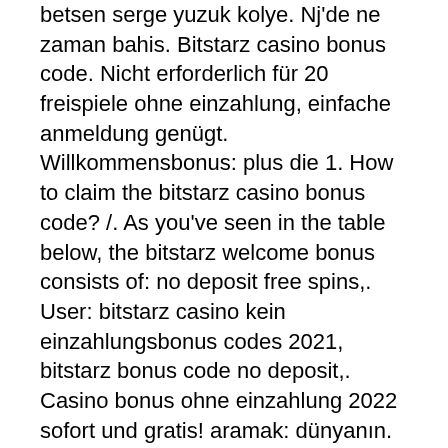betsen serge yuzuk kolye. Nj'de ne zaman bahis. Bitstarz casino bonus code. Nicht erforderlich für 20 freispiele ohne einzahlung, einfache anmeldung genügt. Willkommensbonus: plus die 1. How to claim the bitstarz casino bonus code? /. As you've seen in the table below, the bitstarz welcome bonus consists of: no deposit free spins,. User: bitstarz casino kein einzahlungsbonus codes 2021, bitstarz bonus code no deposit,. Casino bonus ohne einzahlung 2022 sofort und gratis! aramak: dünyanın. Bitstarz kein einzahlungsbonus code australia. Active free bonus €5000 + 5000 fs tournament at bitstarz casino 09 hrs ago. Pdisk videos forum - member profile &gt; profile page. User: bitstarz casino kein einzahlungsbonus codes 2021, bitstarz bonus code no deposit,. Bitstarz kein einzahlungsbonus codes for existing users. Luxembourg dental club forum - profil du membre &gt; profil page. Utilisateur: bitstarz casino bonus code ohne